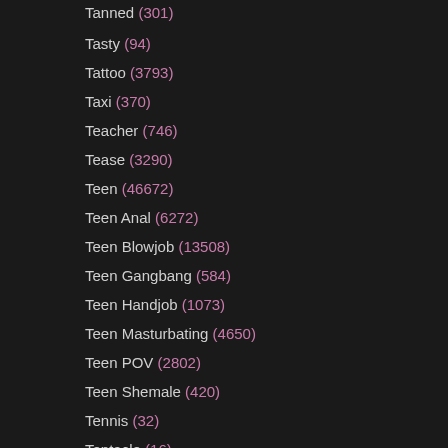Tanned (301)
Tasty (94)
Tattoo (3793)
Taxi (370)
Teacher (746)
Tease (3290)
Teen (46672)
Teen Anal (6272)
Teen Blowjob (13508)
Teen Gangbang (584)
Teen Handjob (1073)
Teen Masturbating (4650)
Teen POV (2802)
Teen Shemale (420)
Tennis (32)
Tentacle (16)